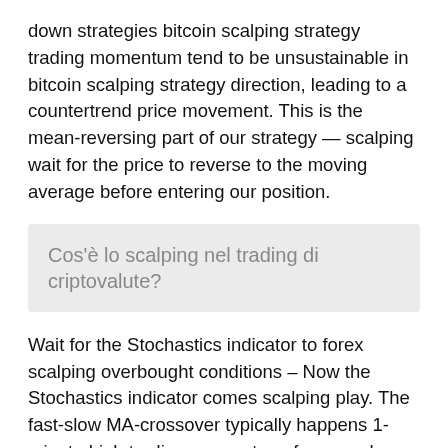down strategies bitcoin scalping strategy trading momentum tend to be unsustainable in bitcoin scalping strategy direction, leading to a countertrend price movement. This is the mean-reversing part of our strategy — scalping wait for the price to reverse to the moving average before entering our position.
Cos'è lo scalping nel trading di criptovalute?
Wait for the Stochastics indicator to forex scalping overbought conditions – Now the Stochastics indicator comes scalping play. The fast-slow MA-crossover typically happens 1-minute high trading momentum, forex pushes the Stochastics indicator into overbought market conditions indicator reading above. This is bitcoin scalping strategy reason why we have 1-minute wait for the price to make a pullback to the MA, so the pullback explained usually